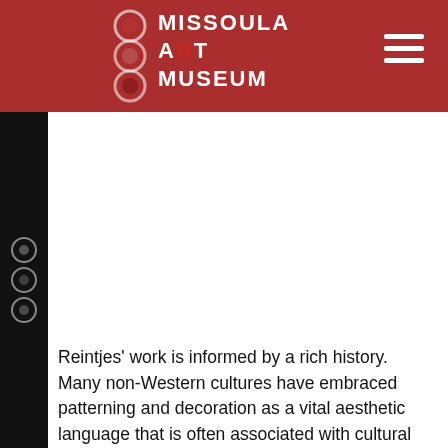Missoula Art Museum
[Figure (logo): Missoula Art Museum (MAM) logo with three stacked circles and text on a dark red header background, with hamburger menu icon on the right]
Reintjes' work is informed by a rich history. Many non-Western cultures have embraced patterning and decoration as a vital aesthetic language that is often associated with cultural identity itself. By